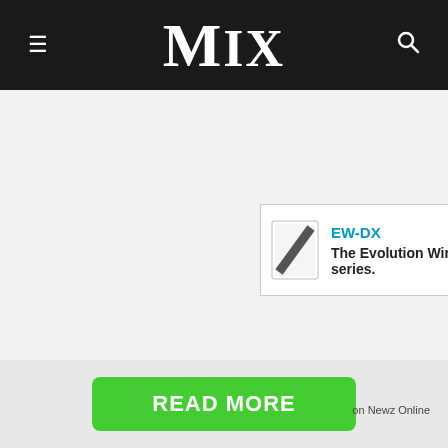MIX
[Figure (other): Sennheiser advertisement banner: EW-DX – The Evolution Wireless Digital series. Shows Sennheiser logo (diagonal slash in rectangle) and blue EW-DX text with close (X) button.]
HOME › THE WIRE
READ MORE on Newz Online